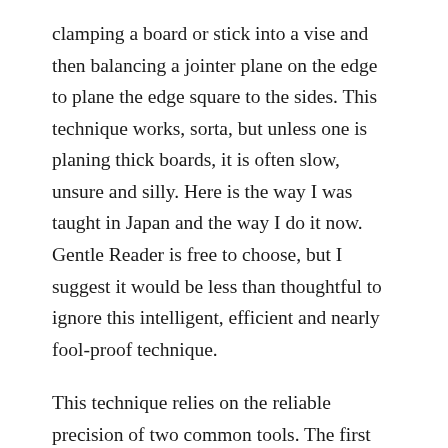clamping a board or stick into a vise and then balancing a jointer plane on the edge to plane the edge square to the sides. This technique works, sorta, but unless one is planing thick boards, it is often slow, unsure and silly. Here is the way I was taught in Japan and the way I do it now. Gentle Reader is free to choose, but I suggest it would be less than thoughtful to ignore this intelligent, efficient and nearly fool-proof technique.
This technique relies on the reliable precision of two common tools. The first thing to check is that the angle between the sole and side of the handplane we use for shooting (usually a jointer) is exactly 90˚degrees (do you really have a tool that will precisely check 90˚or do you just assume you do?). Of course, the blade extending past the mouth must also form a perfect 90˚